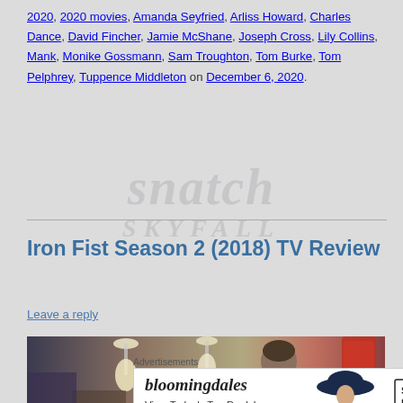2020, 2020 movies, Amanda Seyfried, Arliss Howard, Charles Dance, David Fincher, Jamie McShane, Joseph Cross, Lily Collins, Mank, Monike Gossmann, Sam Troughton, Tom Burke, Tom Pelphrey, Tuppence Middleton on December 6, 2020.
Iron Fist Season 2 (2018) TV Review
Leave a reply
[Figure (photo): A still from Iron Fist Season 2 showing a person in a restaurant/diner setting with pendant lamps and red decor in the background]
Advertisements
[Figure (photo): Bloomingdales advertisement banner: 'View Today's Top Deals!' with SHOP NOW > button and woman in large hat]